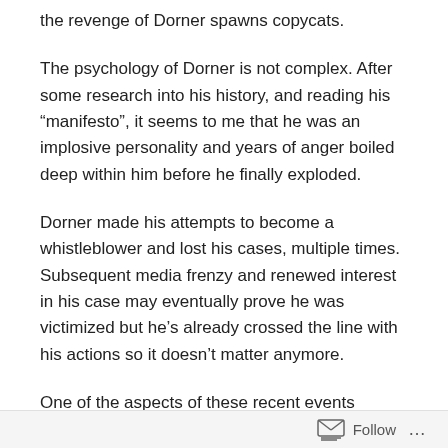the revenge of Dorner spawns copycats.
The psychology of Dorner is not complex. After some research into his history, and reading his “manifesto”, it seems to me that he was an implosive personality and years of anger boiled deep within him before he finally exploded.
Dorner made his attempts to become a whistleblower and lost his cases, multiple times. Subsequent media frenzy and renewed interest in his case may eventually prove he was victimized but he’s already crossed the line with his actions so it doesn’t matter anymore.
One of the aspects of these recent events around Dorner that concerns me is how many other racial and vengeful motivated acts may be committed over time brought on by
Follow